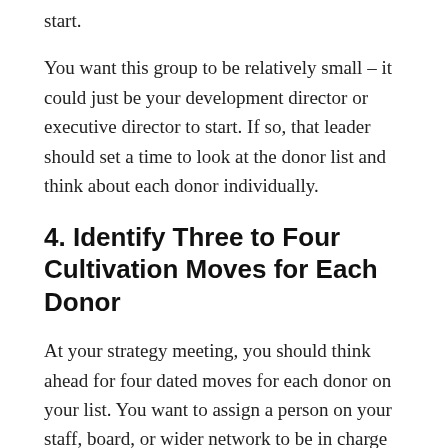start.
You want this group to be relatively small – it could just be your development director or executive director to start. If so, that leader should set a time to look at the donor list and think about each donor individually.
4. Identify Three to Four Cultivation Moves for Each Donor
At your strategy meeting, you should think ahead for four dated moves for each donor on your list. You want to assign a person on your staff, board, or wider network to be in charge of the move as